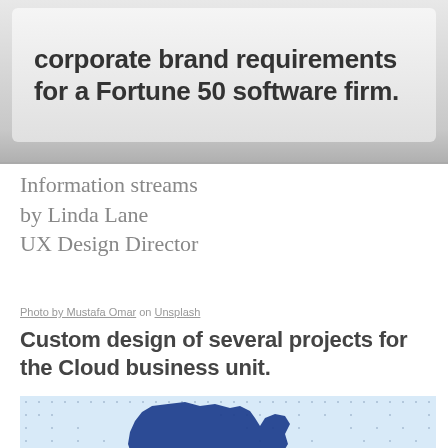corporate brand requirements for a Fortune 50 software firm.
Information streams
by Linda Lane
UX Design Director
Photo by Mustafa Omar on Unsplash
Custom design of several projects for the Cloud business unit.
[Figure (illustration): Map of Africa in dark blue overlaid on a light blue geometric/dot-pattern background. A blue circular button with three dots (ellipsis) appears in the bottom-right corner of the image.]
More than 70 variations in 2 days.